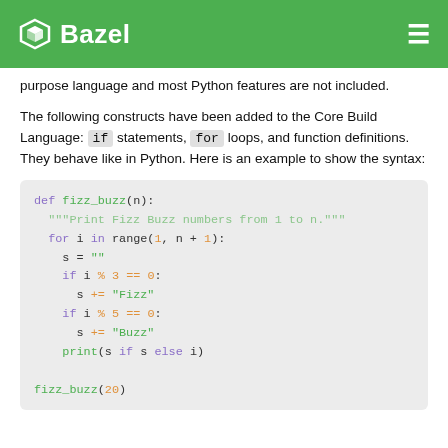Bazel
purpose language and most Python features are not included.
The following constructs have been added to the Core Build Language: if statements, for loops, and function definitions. They behave like in Python. Here is an example to show the syntax:
def fizz_buzz(n):
    """Print Fizz Buzz numbers from 1 to n."""
    for i in range(1, n + 1):
        s = ""
        if i % 3 == 0:
            s += "Fizz"
        if i % 5 == 0:
            s += "Buzz"
        print(s if s else i)

fizz_buzz(20)